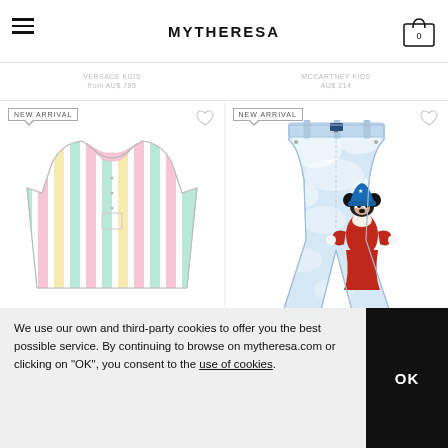MYTHERESA
VERSACE KIDS from AU$ 785
MCCARTNEY KIDS AU$ 214
NEW ARRIVAL
[Figure (photo): Colorful vertical striped long-sleeve shirt with pink collar and cuffs, chest pocket, multi-color pastel stripes]
NEW ARRIVAL
[Figure (photo): Light blue tie-dye flare jeans with Mickey Mouse as sorcerer's apprentice graphic on the leg]
We use our own and third-party cookies to offer you the best possible service. By continuing to browse on mytheresa.com or clicking on "OK", you consent to the use of cookies.